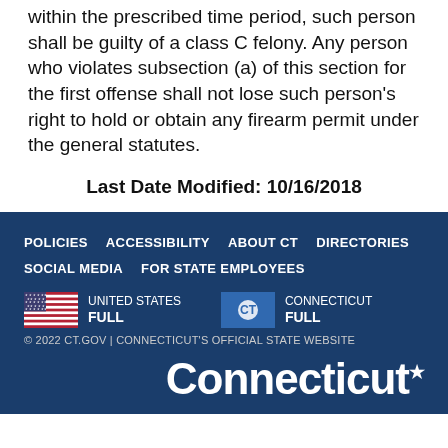within the prescribed time period, such person shall be guilty of a class C felony. Any person who violates subsection (a) of this section for the first offense shall not lose such person's right to hold or obtain any firearm permit under the general statutes.
Last Date Modified: 10/16/2018
POLICIES  ACCESSIBILITY  ABOUT CT  DIRECTORIES  SOCIAL MEDIA  FOR STATE EMPLOYEES
UNITED STATES FULL
CONNECTICUT FULL
© 2022 CT.GOV | CONNECTICUT'S OFFICIAL STATE WEBSITE
Connecticut